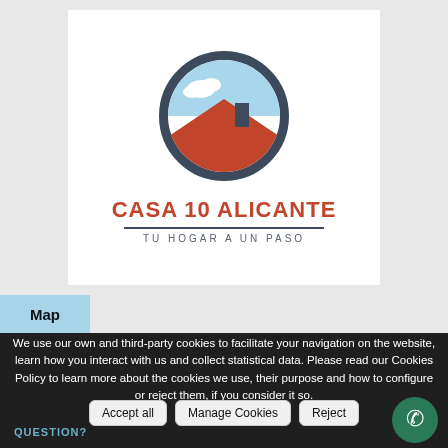[Figure (logo): Casa 10 Alicante logo: circular icon with dark border showing a house rooftop (orange/terracotta) against a light blue sky with a white cloud, mounted on a chimney. Below the circle: 'CASA 10 ALICANTE' in bold orange uppercase, a dark horizontal divider, and 'TU HOGAR A UN PASO' in spaced gray uppercase letters.]
Map
We use our own and third-party cookies to facilitate your navigation on the website, learn how you interact with us and collect statistical data. Please read our Cookies Policy to learn more about the cookies we use, their purpose and how to configure or reject them, if you consider it so.
Accept all   Manage Cookies   Reject
QUESTION?